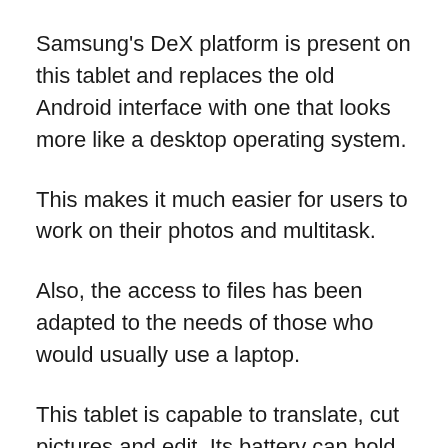Samsung's DeX platform is present on this tablet and replaces the old Android interface with one that looks more like a desktop operating system.
This makes it much easier for users to work on their photos and multitask.
Also, the access to files has been adapted to the needs of those who would usually use a laptop.
This tablet is capable to translate, cut pictures and edit. Its battery can hold up to 16 hours in a single charge. The Galaxy Tab S4 is therefore a great option for photographers who are